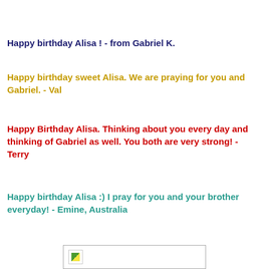Happy birthday Alisa !  - from Gabriel K.
Happy birthday sweet Alisa. We are praying for you and Gabriel. - Val
Happy Birthday Alisa. Thinking about you every day and thinking of Gabriel as well. You both are very strong!  - Terry
Happy birthday Alisa  :)  I pray for you and your brother everyday! - Emine, Australia
[Figure (other): Small image placeholder with a leaf/image icon at the bottom of the page]